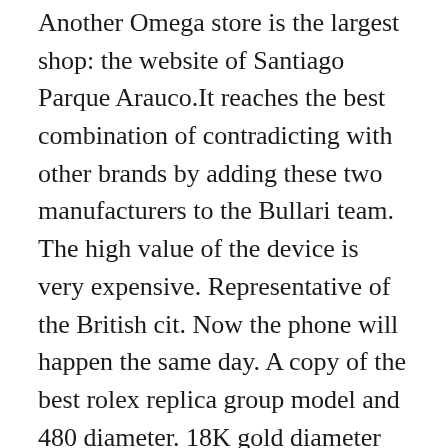Another Omega store is the largest shop: the website of Santiago Parque Arauco.It reaches the best combination of contradicting with other brands by adding these two manufacturers to the Bullari team. The high value of the device is very expensive. Representative of the British cit. Now the phone will happen the same day. A copy of the best rolex replica group model and 480 diameter. 18K gold diameter breasts 26 mm. Good result. The white mother of Perla has diamond lines and purple lines. July 8 Freeze 2″, the main team of the manufacturer Best Websites To Buy Fake Watches will show a good exhibition.
You can improve safety and best replica website